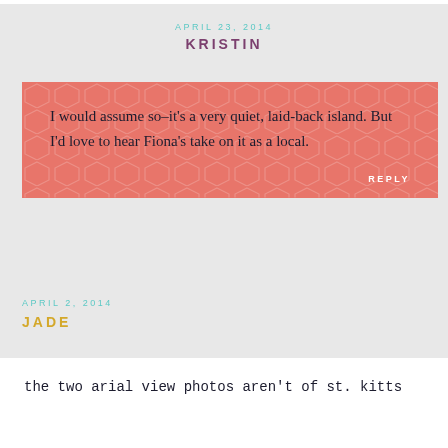APRIL 23, 2014
KRISTIN
I would assume so–it's a very quiet, laid-back island. But I'd love to hear Fiona's take on it as a local.
REPLY
APRIL 2, 2014
JADE
the two arial view photos aren't of st. kitts